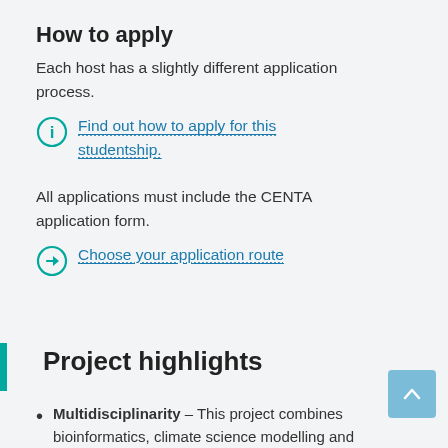How to apply
Each host has a slightly different application process.
Find out how to apply for this studentship.
All applications must include the CENTA application form.
Choose your application route
Project highlights
Multidisciplinarity – This project combines bioinformatics, climate science modelling and